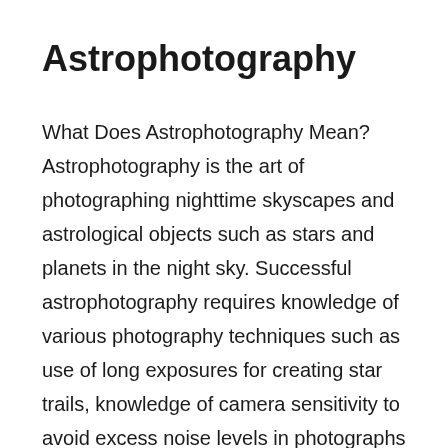Astrophotography
What Does Astrophotography Mean? Astrophotography is the art of photographing nighttime skyscapes and astrological objects such as stars and planets in the night sky. Successful astrophotography requires knowledge of various photography techniques such as use of long exposures for creating star trails, knowledge of camera sensitivity to avoid excess noise levels in photographs of dark skies, and the use of camera steadying equipment such as tripods to aid in the capture